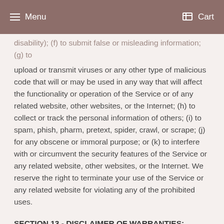Menu  Cart
disability); (f) to submit false or misleading information; (g) to upload or transmit viruses or any other type of malicious code that will or may be used in any way that will affect the functionality or operation of the Service or of any related website, other websites, or the Internet; (h) to collect or track the personal information of others; (i) to spam, phish, pharm, pretext, spider, crawl, or scrape; (j) for any obscene or immoral purpose; or (k) to interfere with or circumvent the security features of the Service or any related website, other websites, or the Internet. We reserve the right to terminate your use of the Service or any related website for violating any of the prohibited uses.
SECTION 13 - DISCLAIMER OF WARRANTIES; LIMITATION OF LIABILITY
We do not guarantee, represent or warrant that your use of our service will be uninterrupted, timely, secure or error-free.
We do not warrant that the results that may be obtained from the use of the service will be accurate or reliable.